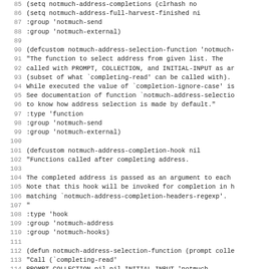Code listing lines 85-117: Emacs Lisp source code for notmuch address completion functions
85   (setq notmuch-address-completions (clrhash no
86   (setq notmuch-address-full-harvest-finished ni
87   :group 'notmuch-send
88   :group 'notmuch-external)
89
90  (defcustom notmuch-address-selection-function 'notmuch-
91   "The function to select address from given list. The
92  called with PROMPT, COLLECTION, and INITIAL-INPUT as ar
93  (subset of what `completing-read' can be called with).
94  While executed the value of `completion-ignore-case' is
95  See documentation of function `notmuch-address-selectio
96  to know how address selection is made by default."
97     :type 'function
98     :group 'notmuch-send
99     :group 'notmuch-external)
100
101 (defcustom notmuch-address-completion-hook nil
102   "Functions called after completing address.
103
104 The completed address is passed as an argument to each
105 Note that this hook will be invoked for completion in h
106 matching `notmuch-address-completion-headers-regexp'.
107 "
108     :type 'hook
109     :group 'notmuch-address
110     :group 'notmuch-hooks)
111
112 (defun notmuch-address-selection-function (prompt colle
113   "Call (`completing-read'
114       PROMPT COLLECTION nil nil INITIAL-INPUT 'notmuch-
115   (completing-read
116    prompt collection nil nil initial-input 'notmuch-add
117